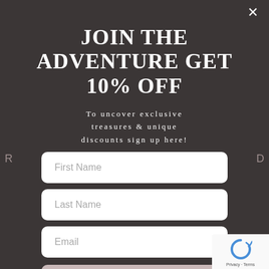[Figure (screenshot): Dark overlay modal popup with a sign-up form on a food/product website background]
JOIN THE ADVENTURE GET 10% OFF
To uncover exclusive treasures & unique discounts sign up here!
First Name
Last Name
Email
Submit